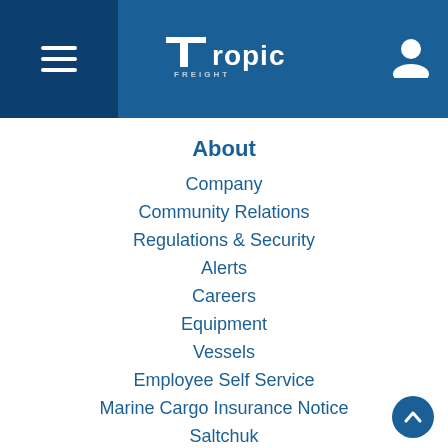[Figure (logo): Tropicana/Tropics company logo with white text on blue header bar, hamburger menu icon on left, user icon on right]
About
Company
Community Relations
Regulations & Security
Alerts
Careers
Equipment
Vessels
Employee Self Service
Marine Cargo Insurance Notice
Saltchuk
See It Say It